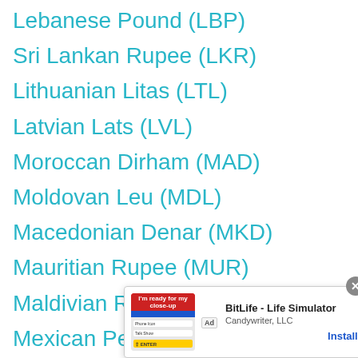Lebanese Pound (LBP)
Sri Lankan Rupee (LKR)
Lithuanian Litas (LTL)
Latvian Lats (LVL)
Moroccan Dirham (MAD)
Moldovan Leu (MDL)
Macedonian Denar (MKD)
Mauritian Rupee (MUR)
Maldivian Rufiyaa (MVR)
Mexican Peso (MXN)
Malaysian Ringgit (MYR)
Namibian Dollar (NAD)
[Figure (screenshot): Ad overlay for BitLife - Life Simulator by Candywriter, LLC with Install button]